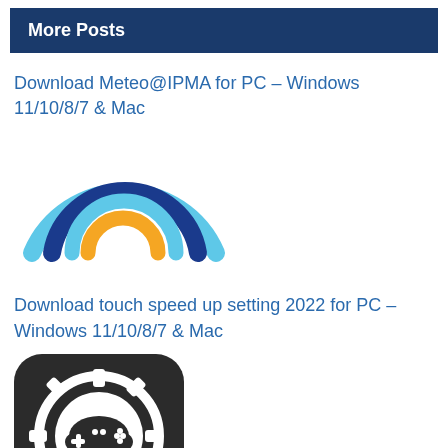More Posts
Download Meteo@IPMA for PC – Windows 11/10/8/7 & Mac
[Figure (logo): Rainbow arc logo with light blue outer arcs, a dark navy middle arc, and a golden/orange inner arc — the Meteo@IPMA app icon]
Download touch speed up setting 2022 for PC – Windows 11/10/8/7 & Mac
[Figure (logo): Dark rounded square app icon showing a gear with a game controller inside — the touch speed up setting app icon]